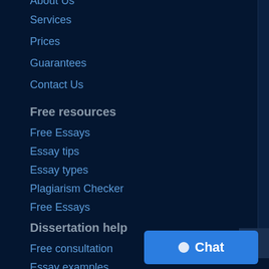About Us
Services
Prices
Guarantees
Contact Us
Free resources
Free Essays
Essay tips
Essay types
Plagiarism Checker
Free Essays
Dissertation help
Free consultation
Essay examples